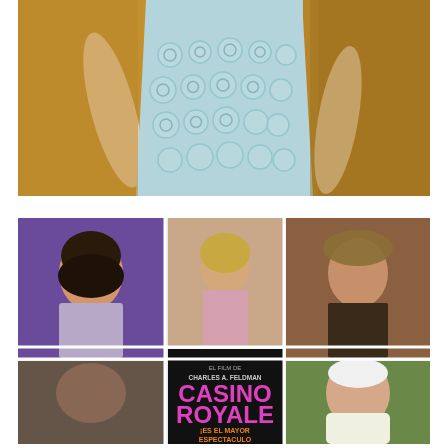[Figure (photo): A woman in a light blue embellished evening gown with floral/scroll appliqués, photographed from mid-torso down, standing on a warm golden/orange background.]
[Figure (photo): A collage/movie poster for Casino Royale (1967). Multiple images of glamorous women and scenes from the film arranged in a grid. A central black panel reads in pink and orange text: 'CHARLES A. FELDMAN CASINO ROYALE ¡ES EL MAYOR ESPECTACULO' with additional text below. The images show various actresses in exotic costumes, evening wear, and film scenes.]